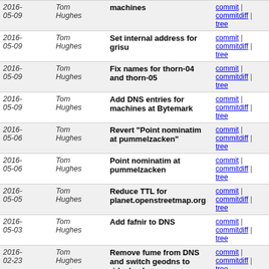| Date | Author | Commit message | Links |
| --- | --- | --- | --- |
| 2016-05-09 | Tom Hughes | machines | commit | commitdiff | tree |
| 2016-05-09 | Tom Hughes | Set internal address for grisu | commit | commitdiff | tree |
| 2016-05-09 | Tom Hughes | Fix names for thorn-04 and thorn-05 | commit | commitdiff | tree |
| 2016-05-09 | Tom Hughes | Add DNS entries for machines at Bytemark | commit | commitdiff | tree |
| 2016-05-06 | Tom Hughes | Revert "Point nominatim at pummelzacken" | commit | commitdiff | tree |
| 2016-05-06 | Tom Hughes | Point nominatim at pummelzacken | commit | commitdiff | tree |
| 2016-05-05 | Tom Hughes | Reduce TTL for planet.openstreetmap.org | commit | commitdiff | tree |
| 2016-05-03 | Tom Hughes | Add fafnir to DNS | commit | commitdiff | tree |
| 2016-02-23 | Tom Hughes | Remove fume from DNS and switch geodns to ridgeback | commit | commitdiff | tree |
| 2016-02-12 | Tom Hughes | Revert "Remove spike-01 from production" | commit | commitdiff | tree |
| 2016-01-22 | Tom Hughes | Point nominatim at dulcy | commit | commitdiff | tree |
| 2016-01-09 | Tom Hughes | Add cmok to tile caches | commit | commitdiff | tree |
| 2016-01-08 | Tom Hughes | Add cmok to DNS | commit | commitdiff | tree |
| 2015-12-20 | Tom Hughes | Add hardware.openstreetmsp.org to DNS | commit | commitdiff | tree |